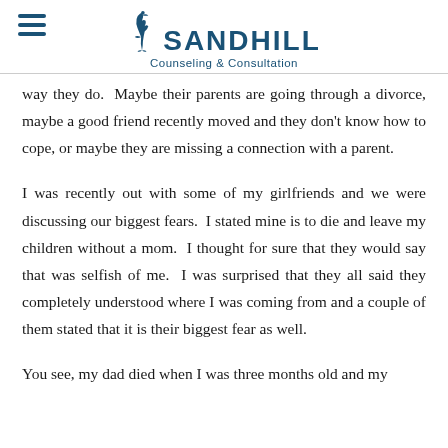SANDHILL Counseling & Consultation
way they do.  Maybe their parents are going through a divorce, maybe a good friend recently moved and they don't know how to cope, or maybe they are missing a connection with a parent.
I was recently out with some of my girlfriends and we were discussing our biggest fears.  I stated mine is to die and leave my children without a mom.  I thought for sure that they would say that was selfish of me.  I was surprised that they all said they completely understood where I was coming from and a couple of them stated that it is their biggest fear as well.
You see, my dad died when I was three months old and my